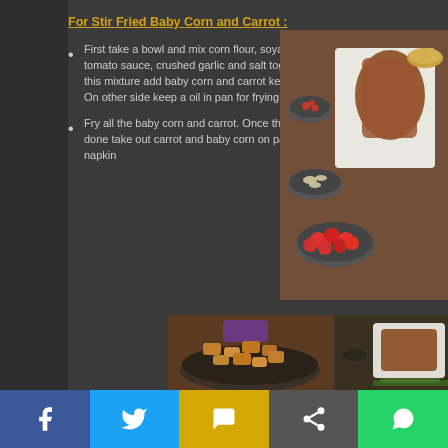For Stir Fried Baby Corn and Carrot :
First take a bowl and mix corn flour, soya sauce, tomato sauce, crushed garlic and salt together in this mixture add baby corn and carrot keep aside. On other side keep a oil in pan for frying
Fry all the baby corn and carrot. Once the frying is done take out carrot and baby corn on paper napkin
[Figure (photo): Top-down view of cooking ingredients including baby corn, carrot, chopped garlic, red chili, cherry tomatoes, and sauce in bowls on a dark surface]
[Figure (photo): Two food preparation photos side by side: left shows marinated baby corn and carrot in a bowl with purple cap, right shows fried baby corn and carrot with side ingredients in bowls]
Share buttons: Facebook, Twitter, SMS, Share, WhatsApp